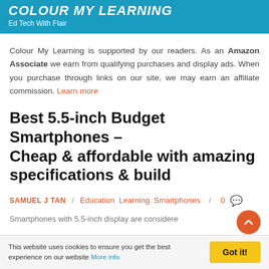COLOUR MY LEARNING
Ed Tech With Flair
Colour My Learning is supported by our readers. As an Amazon Associate we earn from qualifying purchases and display ads. When you purchase through links on our site, we may earn an affiliate commission. Learn more
Best 5.5-inch Budget Smartphones – Cheap & affordable with amazing specifications & build
SAMUEL J TAN / Education Learning Smartphones / 0
Smartphones with 5.5-inch display are considered